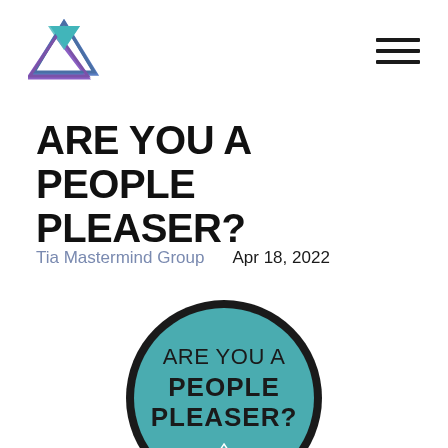ARE YOU A PEOPLE PLEASER?
Tia Mastermind Group    Apr 18, 2022
[Figure (illustration): Circular badge with teal/dark teal background and black border. Text inside reads 'ARE YOU A PEOPLE PLEASER?' with PEOPLE PLEASER in bold. Small triangle logo for The Intentional Advisor at bottom. Radiating lines graphic behind the circle.]